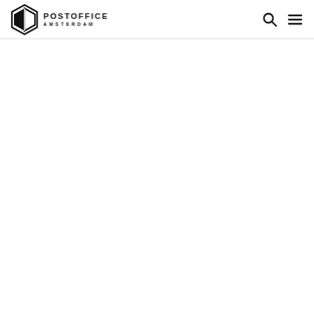POSTOFFICE AMSTERDAM
[Figure (other): White blank content area below the header navigation bar]